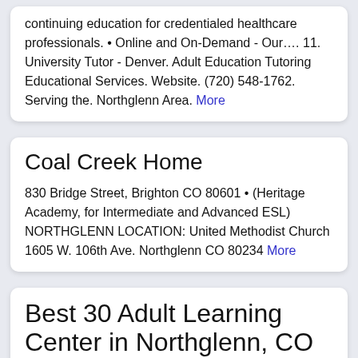continuing education for credentialed healthcare professionals. • Online and On-Demand - Our…. 11. University Tutor - Denver. Adult Education Tutoring Educational Services. Website. (720) 548-1762. Serving the. Northglenn Area. More
Coal Creek Home
830 Bridge Street, Brighton CO 80601 • (Heritage Academy, for Intermediate and Advanced ESL) NORTHGLENN LOCATION: United Methodist Church 1605 W. 106th Ave. Northglenn CO 80234 More
Best 30 Adult Learning Center in Northglenn, CO